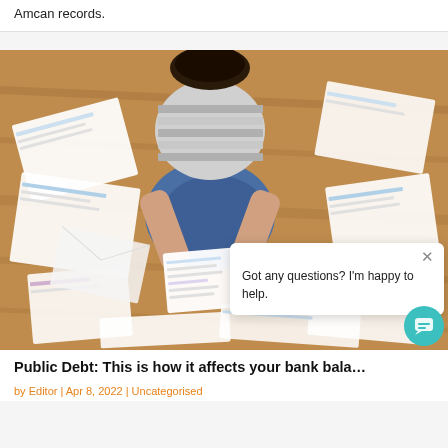Amcan records.
[Figure (photo): Overhead view of a person sitting on a wooden floor surrounded by many documents and papers, holding and reviewing some of them. A chat popup overlay reads 'PSL' logo and 'Got any questions? I'm happy to help.' with a close button.]
Public Debt: This is how it affects your bank bala…
by Editor | Apr 8, 2022 | Uncategorised